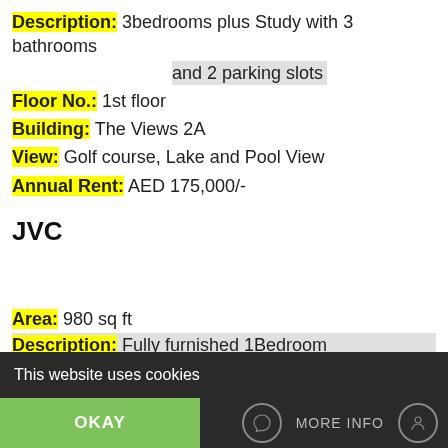Description: 3bedrooms plus Study with 3 bathrooms and 2 parking slots
Floor No.: 1st floor
Building: The Views 2A
View: Golf course, Lake and Pool View
Annual Rent: AED 175,000/-
JVC
Area: 980 sq ft
Description: Fully furnished 1Bedroom
This website uses cookies | OKAY | MORE INFO